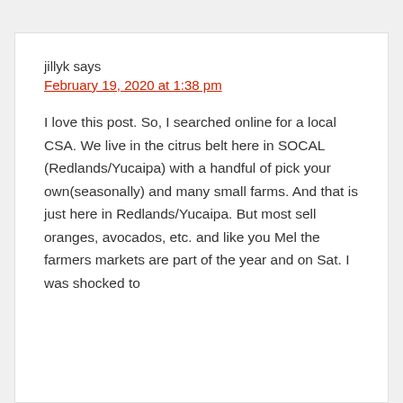jillyk says
February 19, 2020 at 1:38 pm
I love this post. So, I searched online for a local CSA. We live in the citrus belt here in SOCAL (Redlands/Yucaipa) with a handful of pick your own(seasonally) and many small farms. And that is just here in Redlands/Yucaipa. But most sell oranges, avocados, etc. and like you Mel the farmers markets are part of the year and on Sat. I was shocked to